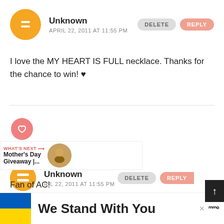[Figure (screenshot): Blog comment section showing two comments by 'Unknown' user with orange Blogger avatar, DELETE and REPLY buttons, comment text about MY HEART IS FULL necklace, social interaction icons (heart, share), a 'What's Next' preview bar, 'Fan of AC!' text, and a Ukraine flag 'We Stand With You' advertisement banner at the bottom.]
Unknown
APRIL 22, 2011 AT 11:55 PM
I love the MY HEART IS FULL necklace. Thanks for the chance to win! ♥
Unknown
RIL 22, 2011 AT 11:55 PM
Fan of AC!
We Stand With You